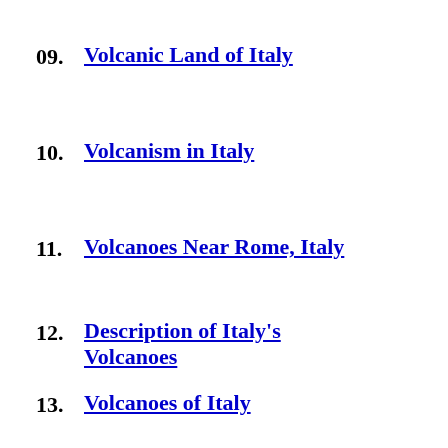09. Volcanic Land of Italy
10. Volcanism in Italy
11. Volcanoes Near Rome, Italy
12. Description of Italy's Volcanoes
13. Volcanoes of Italy